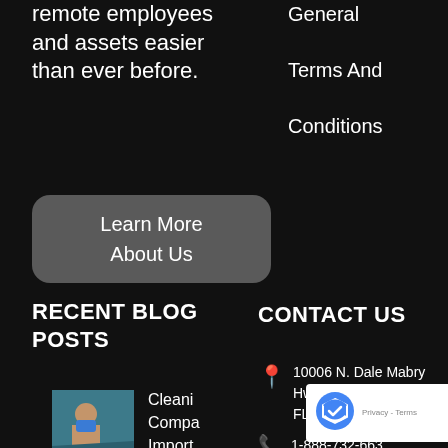managing your remote employees and assets easier than ever before.
General Terms And Conditions
Learn More About Us
RECENT BLOG POSTS
CONTACT US
10006 N. Dale Mabry Hwy. Suite 100 Tampa, FL 33618
1-888-732-663
[Figure (photo): Person in medical mask, cleaning company related photo]
Cleani Compa Import Contac